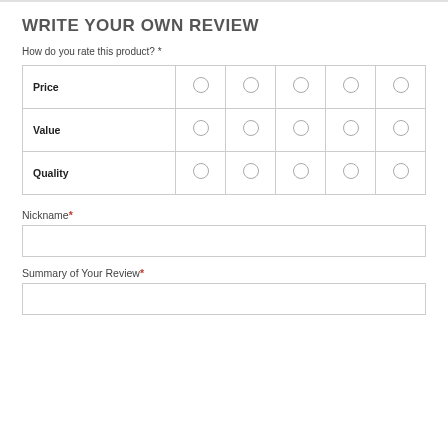WRITE YOUR OWN REVIEW
How do you rate this product? *
|  | 1 | 2 | 3 | 4 | 5 |
| --- | --- | --- | --- | --- | --- |
| Price | ○ | ○ | ○ | ○ | ○ |
| Value | ○ | ○ | ○ | ○ | ○ |
| Quality | ○ | ○ | ○ | ○ | ○ |
Nickname*
Summary of Your Review*